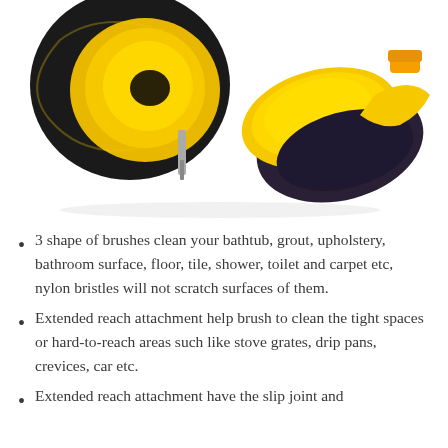[Figure (photo): Two yellow and black drill-powered cleaning brushes with nylon bristles on a white background — a round brush and an oval/flat brush with black plastic bases.]
3 shape of brushes clean your bathtub, grout, upholstery, bathroom surface, floor, tile, shower, toilet and carpet etc, nylon bristles will not scratch surfaces of them.
Extended reach attachment help brush to clean the tight spaces or hard-to-reach areas such like stove grates, drip pans, crevices, car etc.
Extended reach attachment have the slip joint and